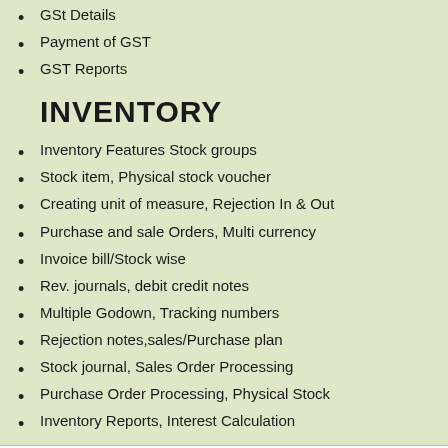GSt Details
Payment of GST
GST Reports
INVENTORY
Inventory Features Stock groups
Stock item, Physical stock voucher
Creating unit of measure, Rejection In & Out
Purchase and sale Orders, Multi currency
Invoice bill/Stock wise
Rev. journals, debit credit notes
Multiple Godown, Tracking numbers
Rejection notes,sales/Purchase plan
Stock journal, Sales Order Processing
Purchase Order Processing, Physical Stock
Inventory Reports, Interest Calculation
Payroll Management Certification Prog. 2 Months,Rs 2600.